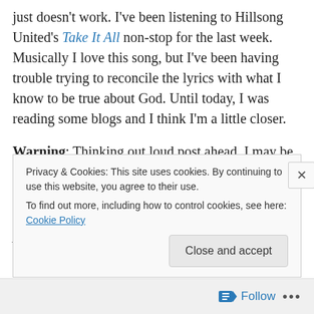just doesn't work. I've been listening to Hillsong United's Take It All non-stop for the last week. Musically I love this song, but I've been having trouble trying to reconcile the lyrics with what I know to be true about God. Until today, I was reading some blogs and I think I'm a little closer.
Warning: Thinking out loud post ahead. I may be wrong and I reserve the right to change my mind.
Sarah, first pointed it out to me by asking,
Are we really never ashamed of Jesus?
Privacy & Cookies: This site uses cookies. By continuing to use this website, you agree to their use. To find out more, including how to control cookies, see here: Cookie Policy
Close and accept
Follow